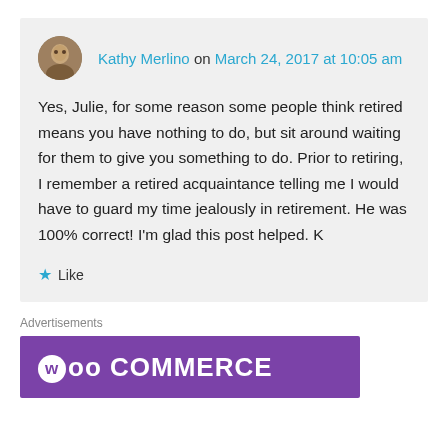Kathy Merlino on March 24, 2017 at 10:05 am
Yes, Julie, for some reason some people think retired means you have nothing to do, but sit around waiting for them to give you something to do. Prior to retiring, I remember a retired acquaintance telling me I would have to guard my time jealously in retirement. He was 100% correct! I'm glad this post helped. K
Like
Advertisements
[Figure (logo): WooCommerce logo on purple background]